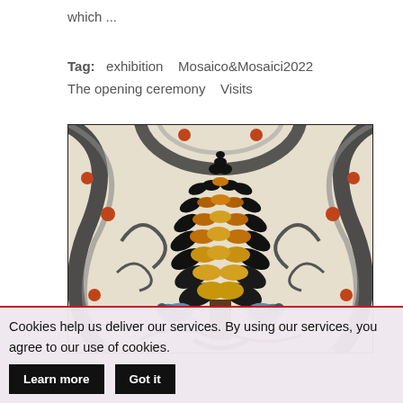which ...
Tag: exhibition Mosaico&Mosaici2022
The opening ceremony Visits
[Figure (photo): Roman mosaic artwork depicting a decorative plant or tree with black and golden leaves in the center, two birds perched on either side at the bottom, and ornamental scrollwork and circular patterns with red berries/fruits on the border. The mosaic is made of small tesserae tiles in cream, black, gold, and terracotta colors.]
Cookies help us deliver our services. By using our services, you agree to our use of cookies.